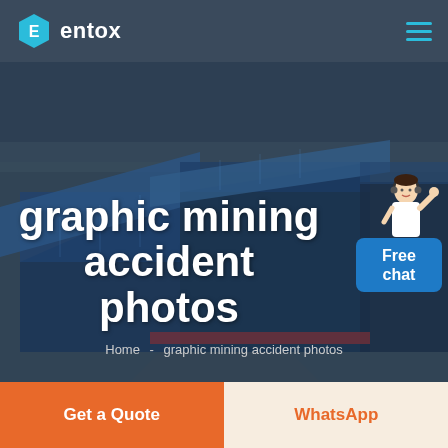entox
[Figure (screenshot): Aerial view of a large industrial or mining facility with blue-roofed warehouse buildings, seen from above, overlaid with dark tint. Hero banner background image.]
[Figure (illustration): Customer service agent figure (woman in white, headset) above a blue 'Free chat' button widget in the top-right corner of the hero.]
graphic mining accident photos
Home - graphic mining accident photos
Get a Quote
WhatsApp